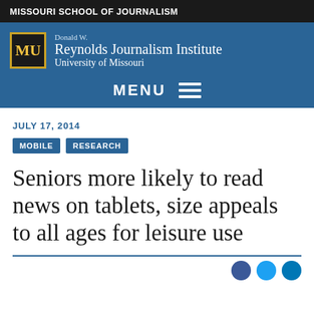MISSOURI SCHOOL OF JOURNALISM
[Figure (logo): Donald W. Reynolds Journalism Institute, University of Missouri logo with MU shield]
MENU
JULY 17, 2014
MOBILE  RESEARCH
Seniors more likely to read news on tablets, size appeals to all ages for leisure use